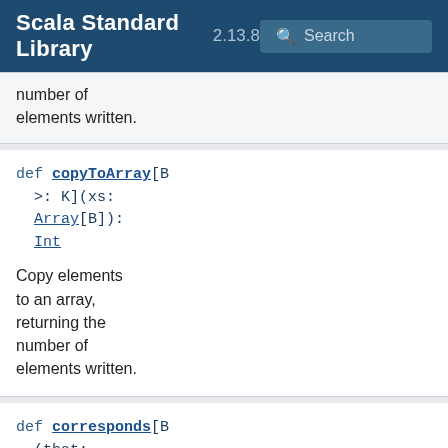Scala Standard Library 2.13.8 Search
number of elements written.
def copyToArray[B >: K](xs: Array[B]): Int
Copy elements to an array, returning the number of elements written.
def corresponds[B(that: IterableOnce[(p: (K, B) => Boolean): Boolean
Tests whether every element of this collection's iterati relates to the corresponding